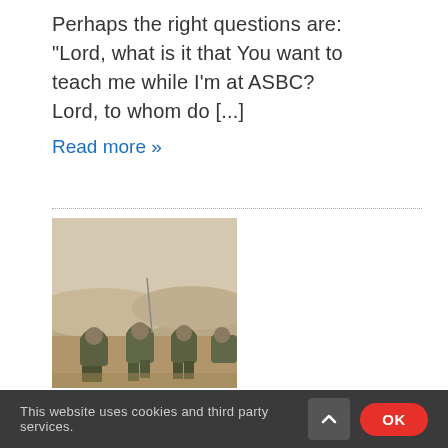Perhaps the right questions are: “Lord, what is it that You want to teach me while I’m at ASBC? Lord, to whom do […]
Read more »
[Figure (photo): Soldiers in military gear kneeling and crouching in a sandy desert environment, appearing to be in a tactical grouping or prayer.]
This website uses cookies and third party services. OK